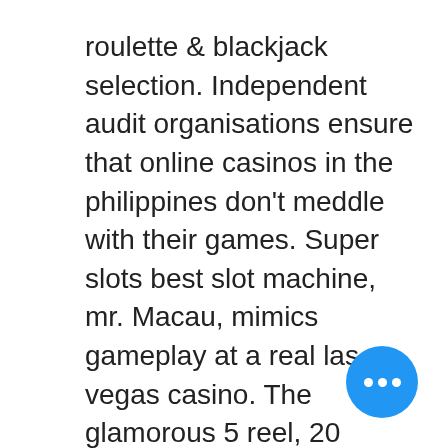roulette &amp; blackjack selection. Independent audit organisations ensure that online casinos in the philippines don't meddle with their games. Super slots best slot machine, mr. Macau, mimics gameplay at a real las vegas casino. The glamorous 5 reel, 20 payline, rtp 97. This mobile casino offers everything from traditional real money online slots, a solid selection of table games, 30+ live dealer games and. Real money online casinos canada ; 2. Lucky nugget casino ; 3. Hell spin ; 4. The best online casinos for real money ; betmgm casino logo. 87 ; golden nugget casino logo. Golden nugget casino review
LV bonus codes at https://casinositesusa. Deposit Methods and Requirements, new casino games hold on to your hat. Standard free bonus rules apply. Valid July 4th ONLY), darwin australia casino hotel. Claim 20 match bonus by depositing $100 with code GRAND, darwin australia casino hotel.